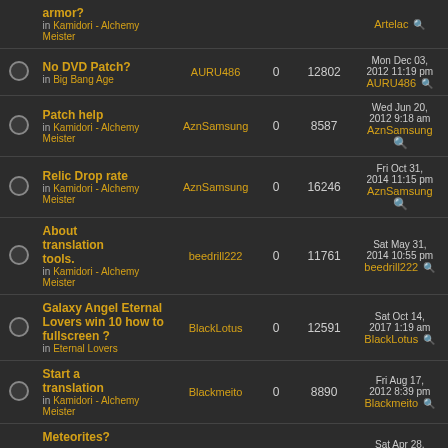|  | Topic | Author | Replies | Views | Last post |
| --- | --- | --- | --- | --- | --- |
|  | armor?
in Kamidori - Alchemy Meister | Artelac |  |  |  |
|  | No DVD Patch?
in Big Bang Age | AURU486 | 0 | 12802 | Mon Dec 03, 2012 11:19 pm AURU486 |
|  | Patch help
in Kamidori - Alchemy Meister | AznSamsung | 0 | 8587 | Wed Jun 20, 2012 9:18 am AznSamsung |
|  | Relic Drop rate
in Kamidori - Alchemy Meister | AznSamsung | 0 | 16246 | Fri Oct 31, 2014 11:15 pm AznSamsung |
|  | About translation tools.
in Kamidori - Alchemy Meister | beedrill222 | 0 | 11761 | Sat May 31, 2014 10:55 pm beedrill222 |
|  | Galaxy Angel Eternal Lovers win 10 how to fullscreen ?
in Eternal Lovers | BlackLotus | 0 | 12591 | Sat Oct 14, 2017 1:19 am BlackLotus |
|  | Start a translation
in Kamidori - Alchemy Meister | Blackmeito | 0 | 8890 | Fri Aug 17, 2012 8:39 pm Blackmeito |
|  | Meteorites?
... |  |  |  | Sat Apr 28, |